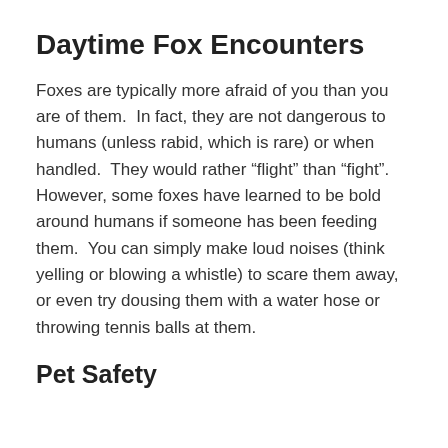Daytime Fox Encounters
Foxes are typically more afraid of you than you are of them.  In fact, they are not dangerous to humans (unless rabid, which is rare) or when handled.  They would rather “flight” than “fight”.  However, some foxes have learned to be bold around humans if someone has been feeding them.  You can simply make loud noises (think yelling or blowing a whistle) to scare them away, or even try dousing them with a water hose or throwing tennis balls at them.
Pet Safety